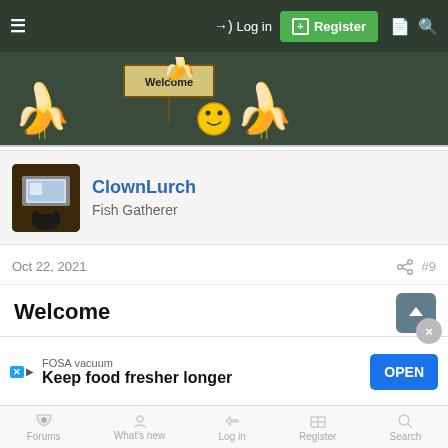≡  →) Log in  [+] Register  □  🔍
[Figure (illustration): Forum welcome banner with banana characters holding a welcome sign and a smiley face coin on a dark green background]
ClownLurch
Fish Gatherer
Oct 22, 2021  #9
Welcome
FOSA vacuum
Keep food fresher longer
OPEN
Forums  What's new  Log in  Register  Search